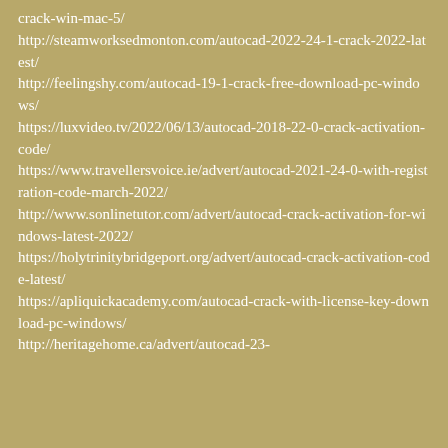crack-win-mac-5/
http://steamworksedmonton.com/autocad-2022-24-1-crack-2022-latest/
http://feelingshy.com/autocad-19-1-crack-free-download-pc-windows/
https://luxvideo.tv/2022/06/13/autocad-2018-22-0-crack-activation-code/
https://www.travellersvoice.ie/advert/autocad-2021-24-0-with-registration-code-march-2022/
http://www.sonlinetutor.com/advert/autocad-crack-activation-for-windows-latest-2022/
https://holytrinitybridgeport.org/advert/autocad-crack-activation-code-latest/
https://apliquickacademy.com/autocad-crack-with-license-key-download-pc-windows/
http://heritagehome.ca/advert/autocad-23-